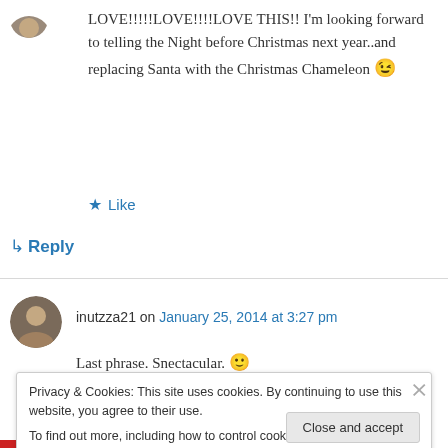[Figure (photo): Partial circular avatar image at top left, cropped]
LOVE!!!!!LOVE!!!!LOVE THIS!! I'm looking forward to telling the Night before Christmas next year..and replacing Santa with the Christmas Chameleon 😉
★ Like
↳ Reply
[Figure (photo): Small circular profile avatar showing a person's face]
inutzza21 on January 25, 2014 at 3:27 pm
Last phrase. Snectacular. 🙂
Privacy & Cookies: This site uses cookies. By continuing to use this website, you agree to their use.
To find out more, including how to control cookies, see here: Cookie Policy
Close and accept